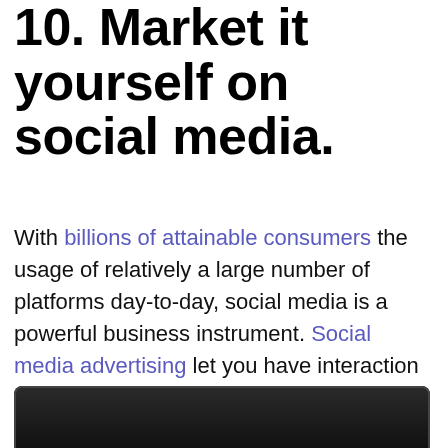10. Market it yourself on social media.
With billions of attainable consumers the usage of relatively a large number of platforms day-to-day, social media is a powerful business instrument. Social media advertising let you have interaction with potential shoppers, assemble brand awareness, and market it your products. Why would now not you want to be seen where your potential shoppers spend their time?
[Figure (screenshot): Bottom portion of a dark-framed device screen visible at the bottom of the page]